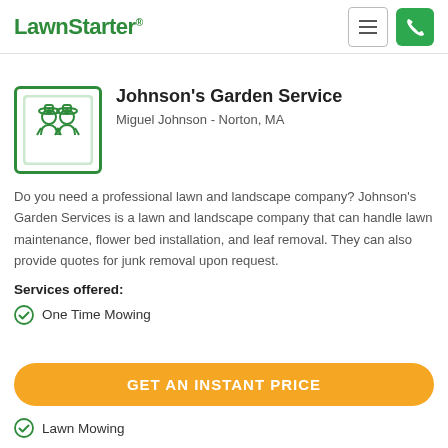LawnStarter
Johnson's Garden Service
Miguel Johnson - Norton, MA
Do you need a professional lawn and landscape company? Johnson's Garden Services is a lawn and landscape company that can handle lawn maintenance, flower bed installation, and leaf removal. They can also provide quotes for junk removal upon request.
Services offered:
One Time Mowing
GET AN INSTANT PRICE
Lawn Mowing